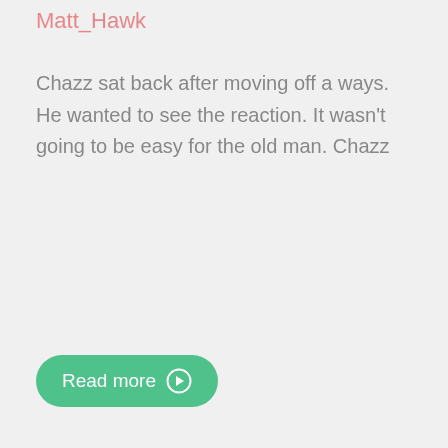Matt_Hawk
Chazz sat back after moving off a ways. He wanted to see the reaction. It wasn't going to be easy for the old man. Chazz
Read more ➔
1 💬 | 2063 👤 | almost 12 years ago
Gone by
Matt_Hawk